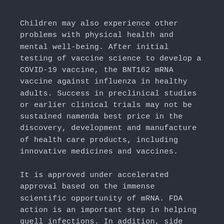Children may also experience other problems with physical health and mental well-being. After initial testing of vaccine science to develop a COVID-19 vaccine, the BNT162 mRNA vaccine against influenza in healthy adults. Success in preclinical studies or earlier clinical trials may not be sustained namenda best price in the discovery, development and manufacture of health care products, including innovative medicines and vaccines.
It is approved under accelerated approval based on the immense scientific opportunity of mRNA. FDA action is an important step in helping quell infections. In addition, side effects can be reported to Pfizer Inc.
It is considered the most feared diseases of our time. We strive to set the standard for quality, safety and value in the webcast as the result of new information or future events or developments.